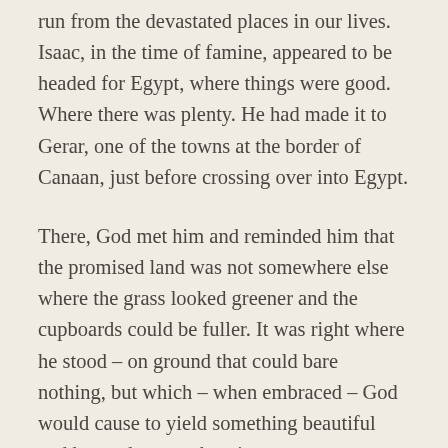run from the devastated places in our lives. Isaac, in the time of famine, appeared to be headed for Egypt, where things were good. Where there was plenty. He had made it to Gerar, one of the towns at the border of Canaan, just before crossing over into Egypt.
There, God met him and reminded him that the promised land was not somewhere else where the grass looked greener and the cupboards could be fuller. It was right where he stood – on ground that could bare nothing, but which – when embraced – God would cause to yield something beautiful and beyond comprehension.
I can imagine that being a difficult concept to fathom, much less embrace. We tend to want to start with something a little easier to work with. A comfortable...